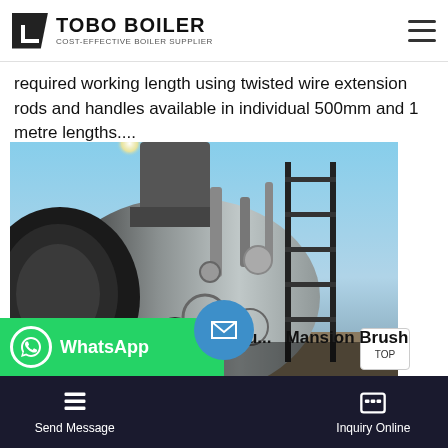TOBO BOILER — COST-EFFECTIVE BOILER SUPPLIER
required working length using twisted wire extension rods and handles available in individual 500mm and 1 metre lengths....
[Figure (photo): Industrial boiler unit photographed outdoors, large cylindrical horizontal boiler with metal access scaffolding and pipes on right side, silhouetted against bright sky.]
WhatsApp
Brush Mansion Brush
del Numb
Send Message | Inquiry Online